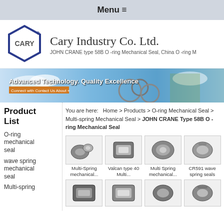Menu ≡
[Figure (logo): Cary Industry hexagon logo with CARY text inside]
Cary Industry Co. Ltd.
JOHN CRANE type 58B O -ring Mechanical Seal, China O -ring M
[Figure (photo): Banner with gears, construction workers, text: Advanced Technology. Quality Excellence]
Product List
You are here: Home > Products > O-ring Mechanical Seal > Multi-spring Mechanical Seal > JOHN CRANE Type 58B O -ring Mechanical Seal
O-ring mechanical seal
wave spring mechanical seal
Multi-spring
[Figure (photo): Multi-Spring mechanical seal product image]
Multi-Spring mechanical...
[Figure (photo): Valcan type 40 Multi... product image]
Valcan type 40 Multi...
[Figure (photo): Multi Spring mechanical... product image]
Multi Spring mechanical...
[Figure (photo): CR591 wave spring seals product image]
CR591 wave spring seals
[Figure (photo): Second row product 1 image]
[Figure (photo): Second row product 2 image]
[Figure (photo): Second row product 3 image]
[Figure (photo): Second row product 4 image]